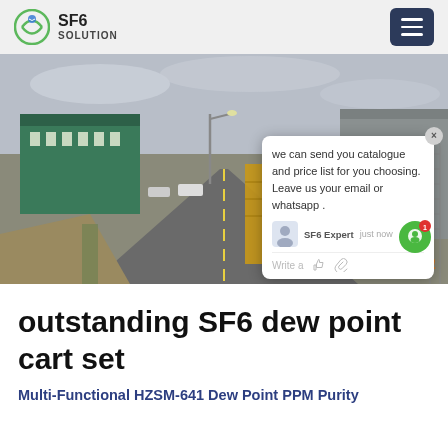SF6 SOLUTION
[Figure (photo): Road scene with yellow trucks lined up outside an industrial facility with green warehouse buildings, overcast sky. A chat popup overlay is visible with text: 'we can send you catalogue and price list for you choosing. Leave us your email or whatsapp.' SF6 Expert - just now. SF6China watermark in orange italic text.]
outstanding SF6 dew point cart set
Multi-Functional HZSM-641 Dew Point PPM Purity